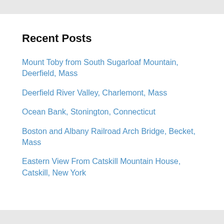Recent Posts
Mount Toby from South Sugarloaf Mountain, Deerfield, Mass
Deerfield River Valley, Charlemont, Mass
Ocean Bank, Stonington, Connecticut
Boston and Albany Railroad Arch Bridge, Becket, Mass
Eastern View From Catskill Mountain House, Catskill, New York